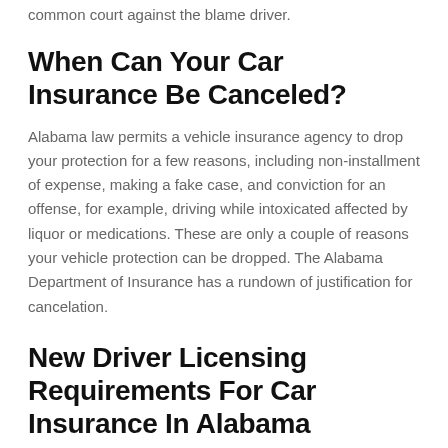common court against the blame driver.
When Can Your Car Insurance Be Canceled?
Alabama law permits a vehicle insurance agency to drop your protection for a few reasons, including non-installment of expense, making a fake case, and conviction for an offense, for example, driving while intoxicated affected by liquor or medications. These are only a couple of reasons your vehicle protection can be dropped. The Alabama Department of Insurance has a rundown of justification for cancelation.
New Driver Licensing Requirements For Car Insurance In Alabama
The Alabama Department of Public Safety requires each driver who works a vehicle on open streets to be